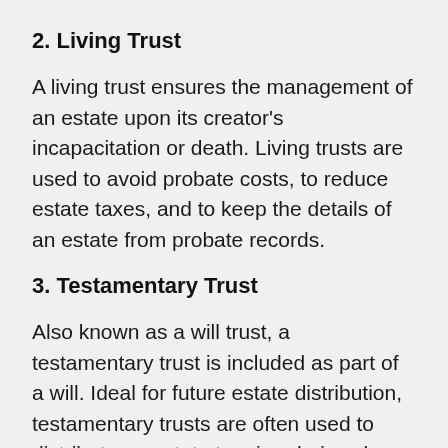2. Living Trust
A living trust ensures the management of an estate upon its creator's incapacitation or death. Living trusts are used to avoid probate costs, to reduce estate taxes, and to keep the details of an estate from probate records.
3. Testamentary Trust
Also known as a will trust, a testamentary trust is included as part of a will. Ideal for future estate distribution, testamentary trusts are often used to distribute an estate to minor heirs when they reach adulthood and in other circumstances.